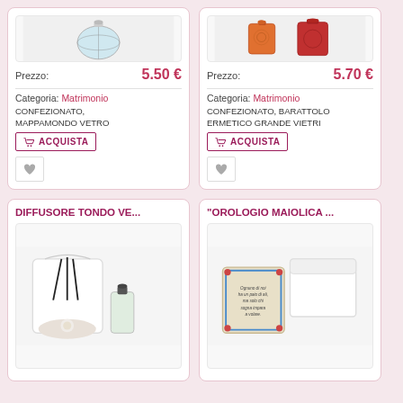[Figure (photo): Product image of glass globe item (Mappamondo Vetro)]
Prezzo: 5.50 €
Categoria: Matrimonio
CONFEZIONATO, MAPPAMONDO VETRO
[Figure (photo): Product image of large Vietri hermetic jar (Barattolo Ermetico Grande Vietri)]
Prezzo: 5.70 €
Categoria: Matrimonio
CONFEZIONATO, BARATTOLO ERMETICO GRANDE VIETRI
DIFFUSORE TONDO VE...
[Figure (photo): Product image of round diffuser with sticks and bottle]
"OROLOGIO MAIOLICA ...
[Figure (photo): Product image of Maiolica clock with decorative box]